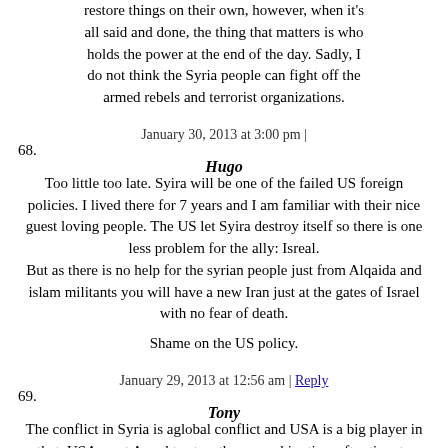restore things on their own, however, when it's all said and done, the thing that matters is who holds the power at the end of the day. Sadly, I do not think the Syria people can fight off the armed rebels and terrorist organizations.
January 30, 2013 at 3:00 pm |
68. Hugo
Too little too late. Syira will be one of the failed US foreign policies. I lived there for 7 years and I am familiar with their nice guest loving people. The US let Syira destroy itself so there is one less problem for the ally: Isreal.
But as there is no help for the syrian people just from Alqaida and islam militants you will have a new Iran just at the gates of Israel with no fear of death.
Shame on the US policy.
January 29, 2013 at 12:56 am | Reply
69. Tony
The conflict in Syria is aglobal conflict and USA is a big player in that. USA want Assad to stay..they gave him time after time to confine his resistance.. Assad is the protector of